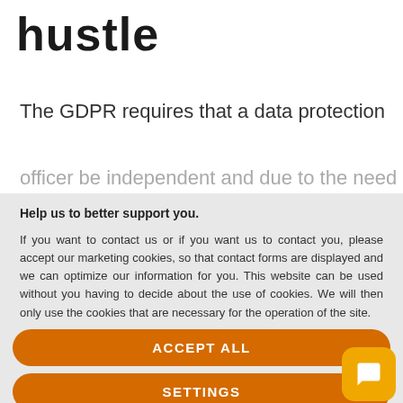hustle
The GDPR requires that a data protection officer be independent and due to the need for
Help us to better support you.

If you want to contact us or if you want us to contact you, please accept our marketing cookies, so that contact forms are displayed and we can optimize our information for you. This website can be used without you having to decide about the use of cookies. We will then only use the cookies that are necessary for the operation of the site.

For further information on the processing of your personal data, please refer to our Privacy policy and Cookie Policy.
ACCEPT ALL
SETTINGS